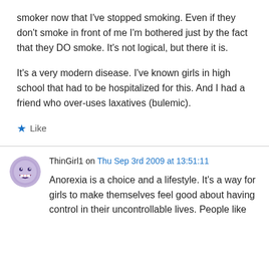smoker now that I've stopped smoking. Even if they don't smoke in front of me I'm bothered just by the fact that they DO smoke. It's not logical, but there it is.
It's a very modern disease. I've known girls in high school that had to be hospitalized for this. And I had a friend who over-uses laxatives (bulemic).
★ Like
ThinGirl1 on Thu Sep 3rd 2009 at 13:51:11
Anorexia is a choice and a lifestyle. It's a way for girls to make themselves feel good about having control in their uncontrollable lives. People like